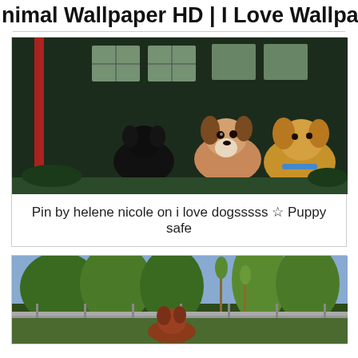Animal Wallpaper HD | I Love Wallpap…
[Figure (photo): Two puppies outdoors in front of a dark ivy-covered brick building with white windows. One black puppy in the center background, one brown and white puppy looking at camera in the center, and one golden/fluffy puppy with blue collar on the right. A red vertical stripe is visible on the left side.]
Pin by helene nicole on i love dogsssss ☆ Puppy safe
[Figure (photo): Dogs in an outdoor dog park area with chain-link fence, green trees and blue sky in the background. A reddish-brown dog is visible in the lower center.]